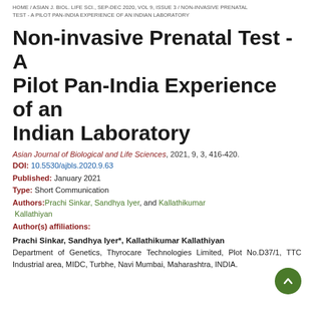HOME / ASIAN J. BIOL. LIFE SCI., SEP-DEC 2020, VOL 9, ISSUE 3 / NON-INVASIVE PRENATAL TEST - A PILOT PAN-INDIA EXPERIENCE OF AN INDIAN LABORATORY
Non-invasive Prenatal Test - A Pilot Pan-India Experience of an Indian Laboratory
Asian Journal of Biological and Life Sciences, 2021, 9, 3, 416-420.
DOI: 10.5530/ajbls.2020.9.63
Published: January 2021
Type: Short Communication
Authors: Prachi Sinkar, Sandhya Iyer, and Kallathikumar Kallathiyan
Author(s) affiliations:
Prachi Sinkar, Sandhya Iyer*, Kallathikumar Kallathiyan
Department of Genetics, Thyrocare Technologies Limited, Plot No.D37/1, TTC Industrial area, MIDC, Turbhe, Navi Mumbai, Maharashtra, INDIA.